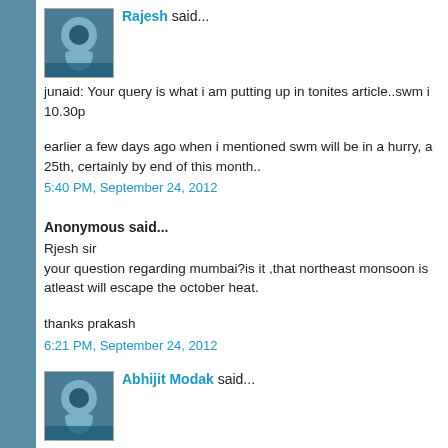Rajesh said...
junaid: Your query is what i am putting up in tonites article..swm i 10.30p
earlier a few days ago when i mentioned swm will be in a hurry, a 25th, certainly by end of this month..
5:40 PM, September 24, 2012
Anonymous said...
Rjesh sir
your question regarding mumbai?is it ,that northeast monsoon is atleast will escape the october heat.
thanks prakash
6:21 PM, September 24, 2012
Abhijit Modak said...
@ Rajesh Sir. Will definitely read tonite article. Back to Badlapur dissapointed as no Thunderstorm event occur neither in Pune , B having hopes of Thunderstorm around 26/27 Sept.. Last 2 days c patchy white cloudy with haze for the day time with afternoon bit afternoon but dispersing quickly then morning turning very fogg